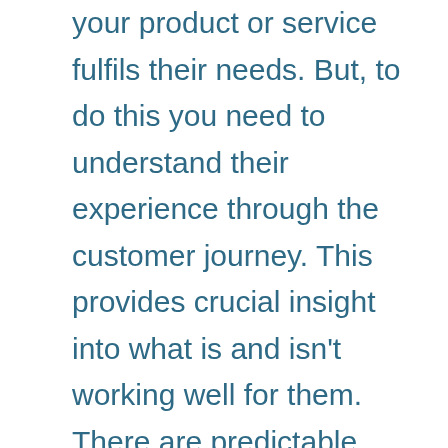your product or service fulfils their needs. But, to do this you need to understand their experience through the customer journey. This provides crucial insight into what is and isn't working well for them. There are predictable challenges at each stage of the customer experience and to effectively improve this, you need to anticipate and remove these.

When you understand the customer experience as it currently is, and as the ideal state, you can create, adapt and optimise